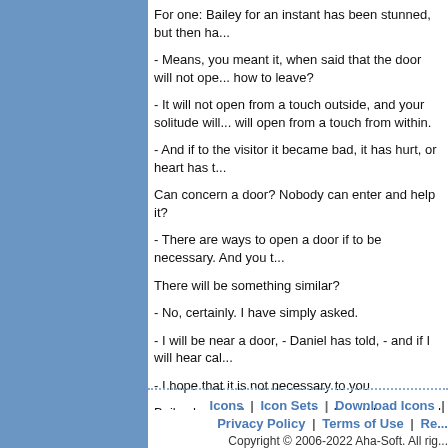For one: Bailey for an instant has been stunned, but then ha...
- Means, you meant it, when said that the door will not ope... how to leave?
- It will not open from a touch outside, and your solitude will... will open from a touch from within.
- And if to the visitor it became bad, it has hurt, or heart has t...
Can concern a door? Nobody can enter and help it?
- There are ways to open a door if to be necessary. And you t...
There will be something similar?
- No, certainly. I have simply asked.
- I will be near a door, - Daniel has told, - and if I will hear cal...
- I hope that it is not necessary to you.
Bailey has easily concerned a door. It has opened at once... closed
It. No. He has stepped inside, the door was quickly closed.
While the door has been opened, the toilet looked as a toilet.
Tube / presumably supplied with the shaving device/, appear...
Icons | Icon Sets | Download Icons | ...   Privacy Policy | Terms of Use | Re...   Copyright © 2006-2022 Aha-Soft. All rig...